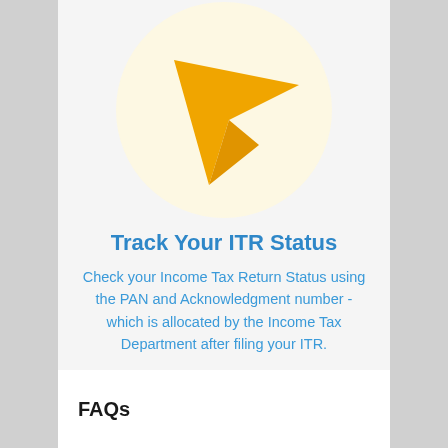[Figure (illustration): Orange paper-plane / navigation arrow icon on a light yellow circle background]
Track Your ITR Status
Check your Income Tax Return Status using the PAN and Acknowledgment number - which is allocated by the Income Tax Department after filing your ITR.
Explore
FAQs